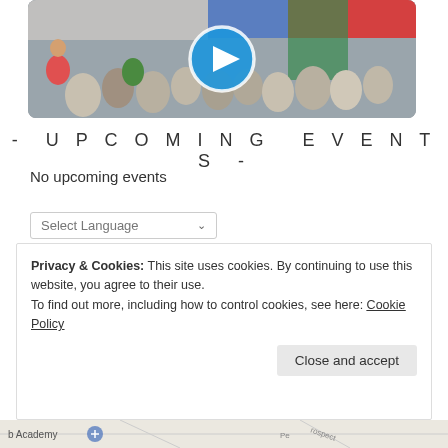[Figure (photo): Video thumbnail showing school assembly hall with children, a play button overlay in the center]
- UPCOMING EVENTS -
No upcoming events
Select Language
Privacy & Cookies: This site uses cookies. By continuing to use this website, you agree to their use.
To find out more, including how to control cookies, see here: Cookie Policy
Close and accept
[Figure (map): Map strip at the bottom showing Academy location]